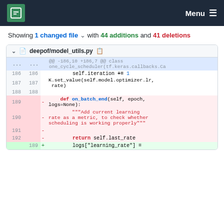MPCDF  Menu
Showing 1 changed file with 44 additions and 41 deletions
| old_ln | new_ln | sign | code |
| --- | --- | --- | --- |
| ... | ... |  | @@ -186,10 +186,7 @@ class one_cycle_scheduler(tf.keras.callbacks.Ca |
| 186 | 186 |  |         self.iteration += 1 |
| 187 | 187 |  | K.set_value(self.model.optimizer.lr, rate) |
| 188 | 188 |  |  |
| 189 |  | - |     def on_batch_end(self, epoch, logs=None): |
| 190 |  | - |         """Add current learning rate as a metric, to check whether scheduling is working properly""" |
| 191 |  | - |  |
| 192 |  | - |         return self.last_rate |
|  | 189 | + |         logs["learning_rate"] = |